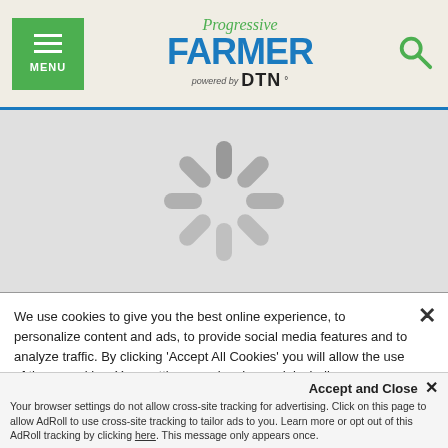Progressive Farmer powered by DTN — MENU | Search
[Figure (illustration): Loading spinner / starburst icon in gray on light gray background]
We use cookies to give you the best online experience, to personalize content and ads, to provide social media features and to analyze traffic. By clicking 'Accept All Cookies' you will allow the use of these cookies. Your settings can be changed, including withdrawing your consent at any time, by clicking 'Cookie Settings'. Find out more on how we and third parties use cookies in our Cookie Policy
Accept and Close ×
Your browser settings do not allow cross-site tracking for advertising. Click on this page to allow AdRoll to use cross-site tracking to tailor ads to you. Learn more or opt out of this AdRoll tracking by clicking here. This message only appears once.